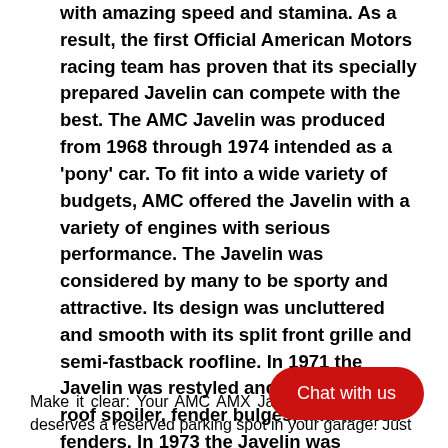with amazing speed and stamina. As a result, the first Official American Motors racing team has proven that its specially prepared Javelin can compete with the best. The AMC Javelin was produced from 1968 through 1974 intended as a 'pony' car. To fit into a wide variety of budgets, AMC offered the Javelin with a variety of engines with serious performance. The Javelin was considered by many to be sporty and attractive. Its design was uncluttered and smooth with its split front grille and semi-fastback roofline. In 1971 the Javelin was restyled and now included a roof spoiler, fender bulges, and arched fenders. In 1973 the Javelin was revamped with the most obvious design change being the taillights and grille. Production ended in 1974.
Make it clear: Your AMC AMX Javelin deserves a reserved parking spot in your garage! Just
[Figure (other): Red rounded rectangle button with white text reading 'Chat with us']